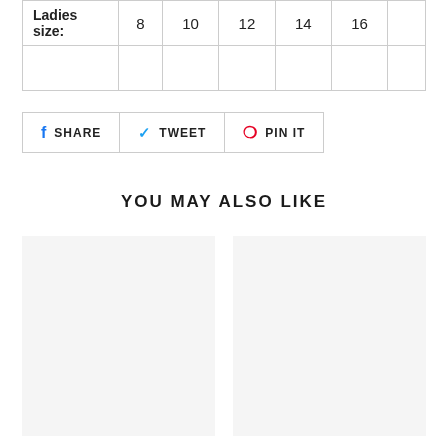| Ladies size: | 8 | 10 | 12 | 14 | 16 |  |
| --- | --- | --- | --- | --- | --- | --- |
|   |   |   |   |   |   |   |
[Figure (other): Social sharing buttons: SHARE (Facebook), TWEET (Twitter), PIN IT (Pinterest)]
YOU MAY ALSO LIKE
[Figure (other): Two product image placeholder boxes side by side]